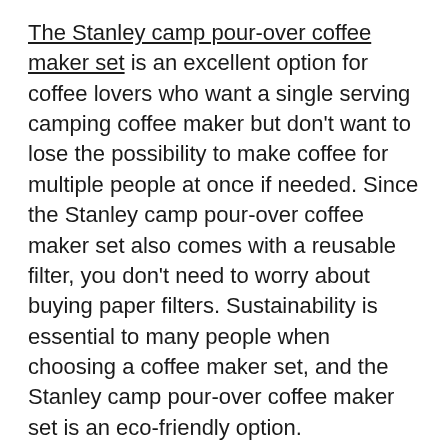The Stanley camp pour-over coffee maker set is an excellent option for coffee lovers who want a single serving camping coffee maker but don't want to lose the possibility to make coffee for multiple people at once if needed. Since the Stanley camp pour-over coffee maker set also comes with a reusable filter, you don't need to worry about buying paper filters. Sustainability is essential to many people when choosing a coffee maker set, and the Stanley camp pour-over coffee maker set is an eco-friendly option.
This camping coffee maker set is also easy to clean, which is a vital consideration if you'll be using it often at the camping site. Finally, the